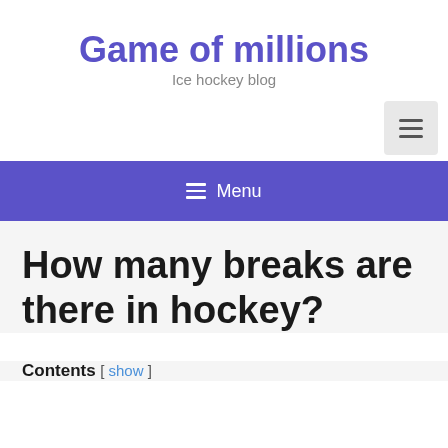Game of millions
Ice hockey blog
[Figure (other): Hamburger menu toggle button (grey square with three horizontal lines icon)]
≡ Menu
How many breaks are there in hockey?
Contents [ show ]